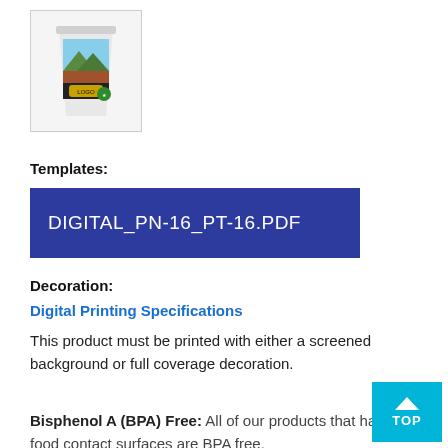[Figure (photo): Thumbnail image of a printed cup product with decorative label showing a landscape scene]
Templates:
DIGITAL_PN-16_PT-16.PDF
Decoration:
Digital Printing Specifications
This product must be printed with either a screened background or full coverage decoration.
Bisphenol A (BPA) Free: All of our products that have food contact surfaces are BPA free.